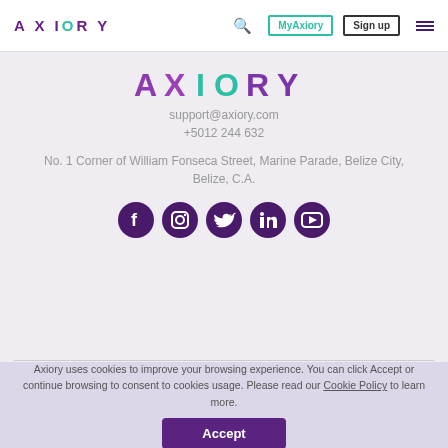AXIORY  [search] MyAxiory  Sign up  [menu]
[Figure (logo): AXIORY logo with purple and teal gradient lettering]
support@axiory.com
+5012 244 632
No. 1 Corner of William Fonseca Street, Marine Parade, Belize City,
Belize, C.A.
[Figure (illustration): Social media icons row: Facebook, Instagram, Twitter, LinkedIn, YouTube — all in dark purple circles]
Axiory uses cookies to improve your browsing experience. You can click Accept or continue browsing to consent to cookies usage. Please read our Cookie Policy to learn more.
Accept